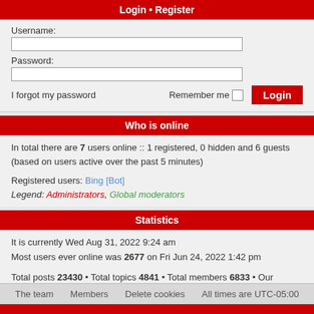Login • Register
Username:
Password:
I forgot my password   Remember me  [checkbox]  Login
Who is online
In total there are 7 users online :: 1 registered, 0 hidden and 6 guests (based on users active over the past 5 minutes)
Registered users: Bing [Bot]
Legend: Administrators, Global moderators
Statistics
It is currently Wed Aug 31, 2022 9:24 am
Most users ever online was 2677 on Fri Jun 24, 2022 1:42 pm
Total posts 23430 • Total topics 4841 • Total members 6833 • Our newest member BirminghamCorporate
The team   Members   Delete cookies   All times are UTC-05:00